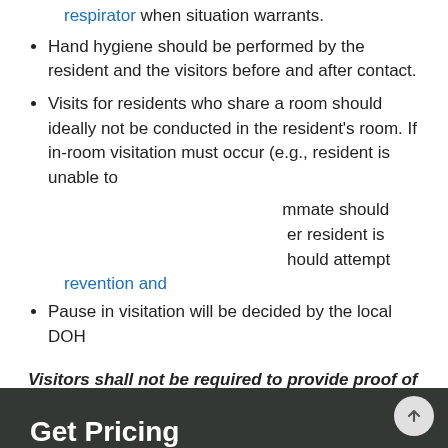respirator when situation warrants.
Hand hygiene should be performed by the resident and the visitors before and after contact.
Visits for residents who share a room should ideally not be conducted in the resident's room. If in-room visitation must occur (e.g., resident is unable to...
...mmate should...er resident is...hould attempt
revention and
Pause in visitation will be decided by the local DOH
Visitors shall not be required to provide proof of any vaccination status.
The Executive Director...
[Figure (photo): Modal popup overlay on top of a photo of a building exterior. Left panel has dark semi-transparent background with white text 'Get Pricing', subtext 'Let us email you our current rates and helpful resources.', and a blue 'Send Me Rates' button. Right panel is a yellow/gold vertical bar with a white X close button.]